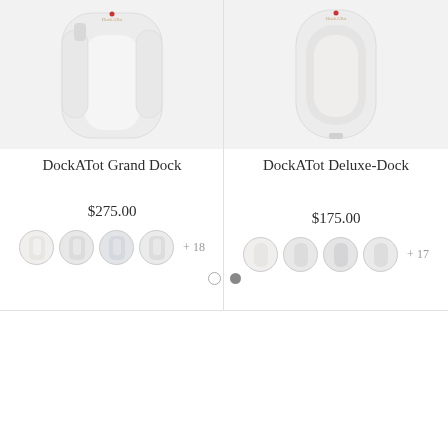[Figure (photo): DockATot Grand Dock product image - white lounger pillow with open center, viewed from above]
DockATot Grand Dock
$275.00
[Figure (photo): Product color swatches - 4 circular thumbnail images of DockATot Grand Dock in various colors + 18 more]
[Figure (photo): DockATot Deluxe-Dock product image - white compact lounger, viewed from above]
DockATot Deluxe-Dock
$175.00
[Figure (photo): Product color swatches - 4 circular thumbnail images of DockATot Deluxe-Dock in various colors + 17 more]